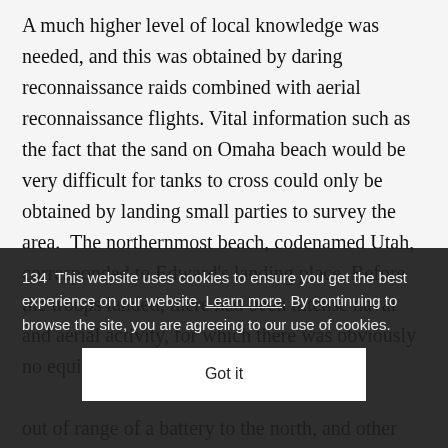A much higher level of local knowledge was needed, and this was obtained by daring reconnaissance raids combined with aerial reconnaissance flights. Vital information such as the fact that the sand on Omaha beach would be very difficult for tanks to cross could only be obtained by landing small parties to survey the area.  The northernmost beach, codenamed Utah, corresponded to Edward's landing place. Before the troops landed, there had been intense naval and aerial activity, for which there was obviously no equivalent in
134 This website uses cookies to ensure you get the best experience on our website. Learn more. By continuing to browse the site, you are agreeing to our use of cookies.
Got it
out of range of a battery to the north, and other